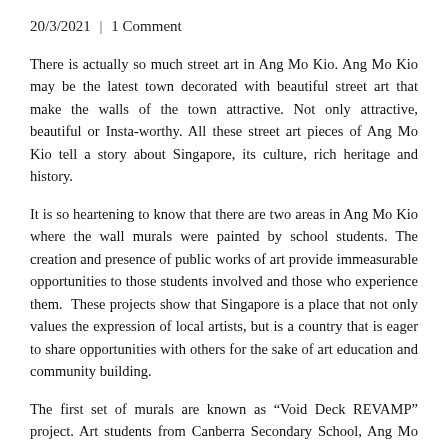20/3/2021 | 1 Comment
There is actually so much street art in Ang Mo Kio. Ang Mo Kio may be the latest town decorated with beautiful street art that make the walls of the town attractive. Not only attractive, beautiful or Insta-worthy. All these street art pieces of Ang Mo Kio tell a story about Singapore, its culture, rich heritage and history.
It is so heartening to know that there are two areas in Ang Mo Kio where the wall murals were painted by school students. The creation and presence of public works of art provide immeasurable opportunities to those students involved and those who experience them. These projects show that Singapore is a place that not only values the expression of local artists, but is a country that is eager to share opportunities with others for the sake of art education and community building.
The first set of murals are known as “Void Deck REVAMP” project. Art students from Canberra Secondary School, Ang Mo Kio Secondary School, Maris Stella High School, Presbyterian High School, Chong Boon Secondary School, Mayflower Secondary School and Nanyang Polytechnic, led by local artists